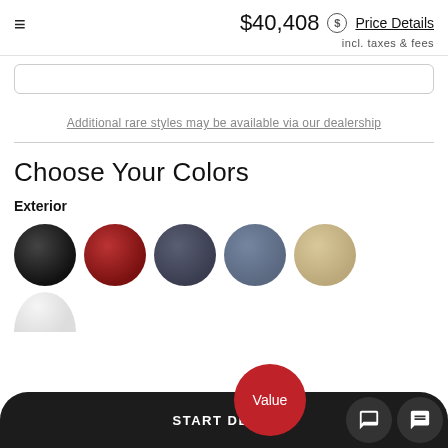$40,408 incl. taxes & fees Price Details
Additional rare styles may be available via our dealership
Choose Your Colors
Exterior
[Figure (illustration): Six color swatches displayed as circles: black, dark red, dark gray, blue-gray, tan/beige, and white (partially visible at bottom)]
START DEAL O...
Value